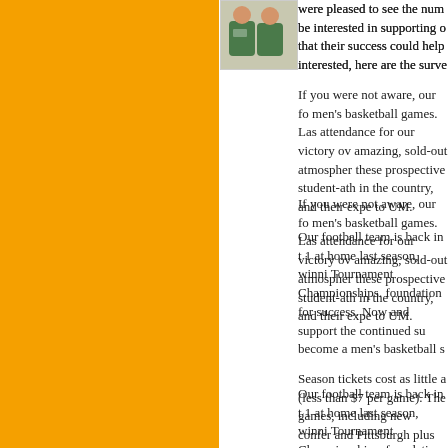[Figure (photo): Photo of two people, one wearing a green sports jersey]
were pleased to see the num be interested in supporting o that their success could help interested, here are the surve
If you were not aware, our fo men's basketball games. Las attendance for our victory ov amazing, sold-out atmospher these prospective student-ath in the country, and their expe to UM.
Our football team is back in t 1 at home last season, winni Tournament Championships. foundation for success. Now and support the continued su become a men's basketball s
Season tickets cost as little a (less than $7 per game). The games, including new confer and Pittsburgh plus traditiona